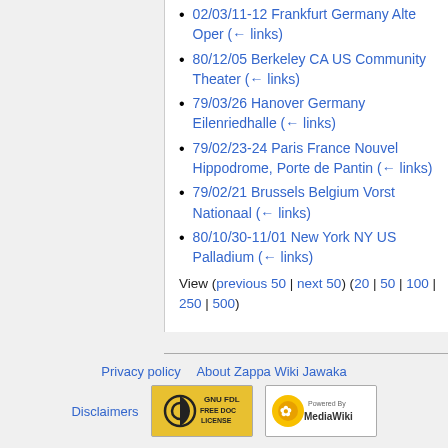02/03/11-12 Frankfurt Germany Alte Oper  (← links)
80/12/05 Berkeley CA US Community Theater  (← links)
79/03/26 Hanover Germany Eilenriedhalle  (← links)
79/02/23-24 Paris France Nouvel Hippodrome, Porte de Pantin  (← links)
79/02/21 Brussels Belgium Vorst Nationaal  (← links)
80/10/30-11/01 New York NY US Palladium  (← links)
View (previous 50 | next 50) (20 | 50 | 100 | 250 | 500)
Privacy policy   About Zappa Wiki Jawaka   Disclaimers